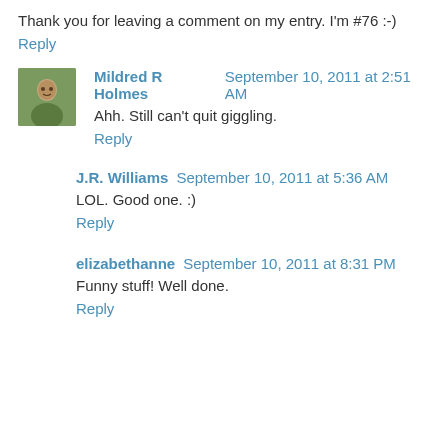Thank you for leaving a comment on my entry. I'm #76 :-)
Reply
Mildred R Holmes  September 10, 2011 at 2:51 AM
Ahh. Still can't quit giggling.
Reply
J.R. Williams  September 10, 2011 at 5:36 AM
LOL. Good one. :)
Reply
elizabethanne  September 10, 2011 at 8:31 PM
Funny stuff! Well done.
Reply